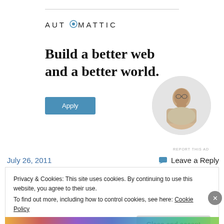[Figure (logo): Automattic logo with stylized O]
Build a better web and a better world.
[Figure (photo): Circular photo of a man thinking, resting his chin on his hand]
REPORT THIS AD
July 26, 2011
Leave a Reply
Privacy & Cookies: This site uses cookies. By continuing to use this website, you agree to their use.
To find out more, including how to control cookies, see here: Cookie Policy